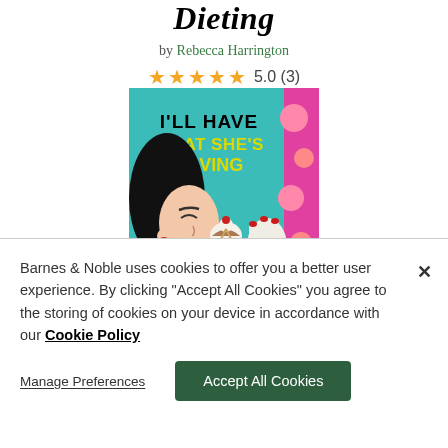Dieting
by Rebecca Harrington
★★★★★ 5.0 (3)
[Figure (illustration): Book cover of 'I'll Have What She's Having' by Rebecca Harrington — teal background with yellow bold text, showing a stylized woman with black hair looking at an ice cream sundae she holds with long red-nailed fingers]
Barnes & Noble uses cookies to offer you a better user experience. By clicking "Accept All Cookies" you agree to the storing of cookies on your device in accordance with our Cookie Policy
Manage Preferences
Accept All Cookies